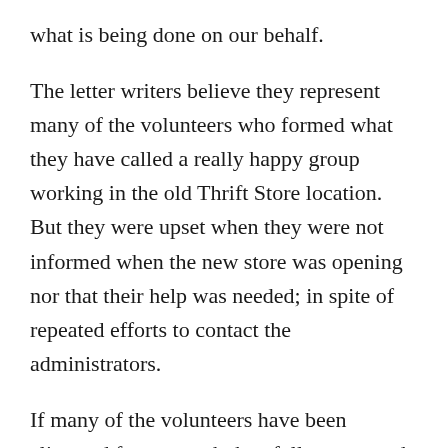what is being done on our behalf.
The letter writers believe they represent many of the volunteers who formed what they have called a really happy group working in the old Thrift Store location. But they were upset when they were not informed when the new store was opening nor that their help was needed; in spite of repeated efforts to contact the administrators.
If many of the volunteers have been alienated from a work they fully supported, and worked beyond duty to continue, then there is a danger that this work may run out of volunteers willing to put up with the issues raised in the letter.